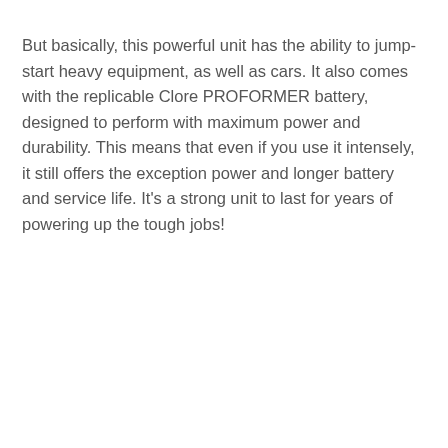But basically, this powerful unit has the ability to jump-start heavy equipment, as well as cars. It also comes with the replicable Clore PROFORMER battery, designed to perform with maximum power and durability. This means that even if you use it intensely, it still offers the exception power and longer battery and service life. It’s a strong unit to last for years of powering up the tough jobs!